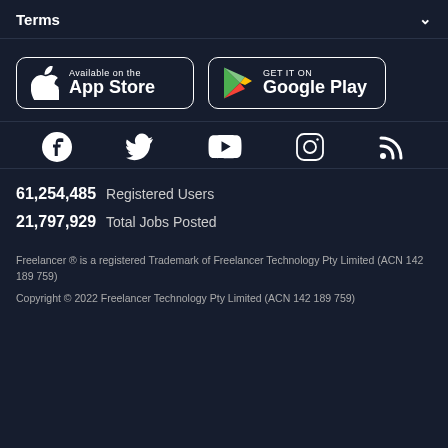Terms
[Figure (screenshot): App Store and Google Play download buttons]
[Figure (screenshot): Social media icons: Facebook, Twitter, YouTube, Instagram, RSS]
61,254,485  Registered Users
21,797,929  Total Jobs Posted
Freelancer ® is a registered Trademark of Freelancer Technology Pty Limited (ACN 142 189 759)
Copyright © 2022 Freelancer Technology Pty Limited (ACN 142 189 759)